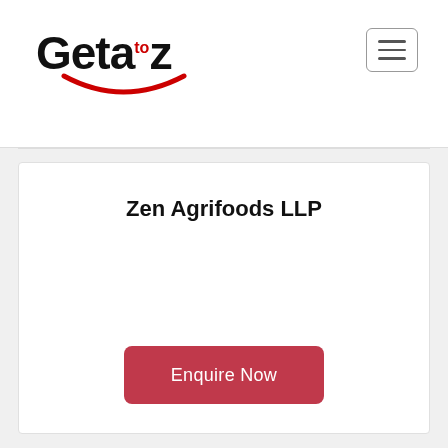Geta to z
Zen Agrifoods LLP
Enquire Now